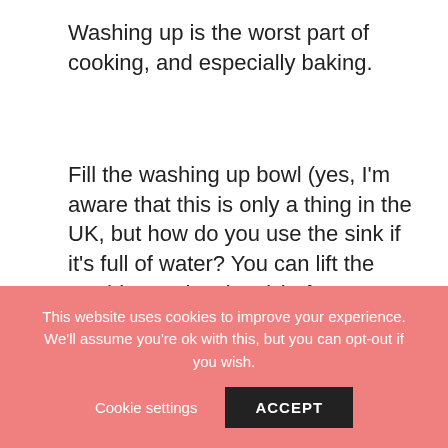Washing up is the worst part of cooking, and especially baking.
Fill the washing up bowl (yes, I'm aware that this is only a thing in the UK, but how do you use the sink if it's full of water? You can lift the washing up bowl out) before you begin and washup as you go along. Not only does it save time at the end but it reduces the risk if you staining the chopping board or something (yorkshire pudding batter) from setting like concrete on your crockery.
8 – Cook the onions first (but be
This website uses cookies to improve your experience. We'll assume you're ok with this, but you can opt-out if you wish.
Cookie settings   ACCEPT